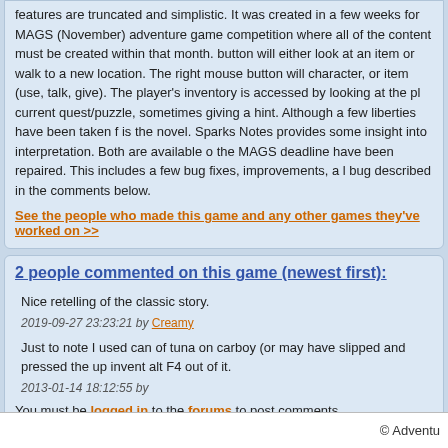features are truncated and simplistic. It was created in a few weeks for MAGS (November) adventure game competition where all of the content must be created within that month. button will either look at an item or walk to a new location. The right mouse button will character, or item (use, talk, give). The player's inventory is accessed by looking at the pl current quest/puzzle, sometimes giving a hint. Although a few liberties have been taken f is the novel. Sparks Notes provides some insight into interpretation. Both are available o the MAGS deadline have been repaired. This includes a few bug fixes, improvements, a l bug described in the comments below.
See the people who made this game and any other games they've worked on >>
2 people commented on this game (newest first):
Nice retelling of the classic story.
2019-09-27 23:23:21 by Creamy
Just to note I used can of tuna on carboy (or may have slipped and pressed the up invent alt F4 out of it.
2013-01-14 18:12:55 by
You must be logged in to the forums to post comments.
© Adventu